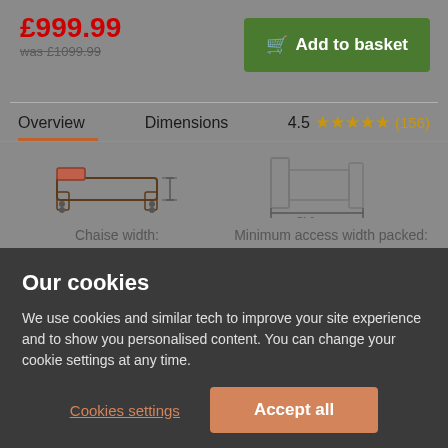£999.99
was £1099.99
Add to basket
Overview   Dimensions   4.5 ★★★★★ (156)
[Figure (illustration): Chaise sofa top view diagram showing chaise width dimension]
Chaise width: 57.0 cm
[Figure (illustration): Sofa/furniture side view diagram showing minimum access width packed dimension]
Minimum access width packed: 71.0 cm
Our cookies
We use cookies and similar tech to improve your site experience and to show you personalised content. You can change your cookie settings at any time.
Cookies settings
Accept all